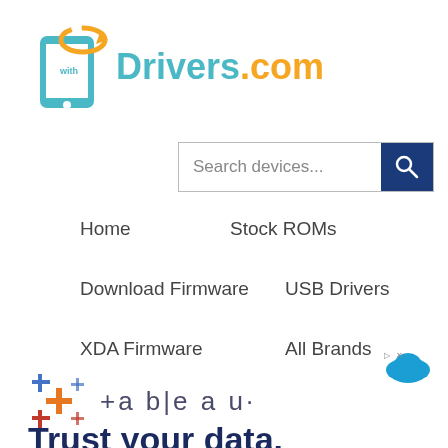[Figure (logo): WithDrivers.com logo — teal smartphone icon with orange arrow and 'with' text, followed by teal 'Drivers' and orange '.com' wordmark]
[Figure (screenshot): Search bar with placeholder text 'Search devices...' and dark blue search button with magnifying glass icon]
Home
Stock ROMs
Download Firmware
USB Drivers
XDA Firmware
All Brands
[Figure (logo): Tableau logo with colorful plus-sign grid and 'tableau' wordmark]
Trust your data.